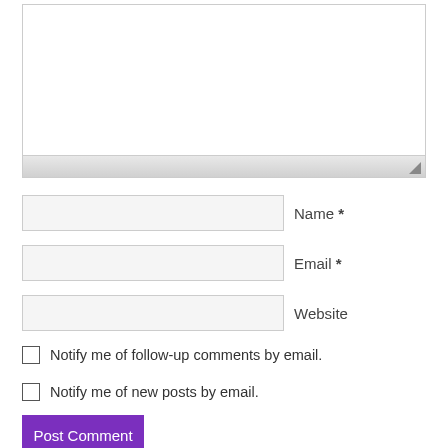[Figure (screenshot): Comment form textarea (large empty text area) with resize handle at bottom]
Name *
Email *
Website
Notify me of follow-up comments by email.
Notify me of new posts by email.
Post Comment